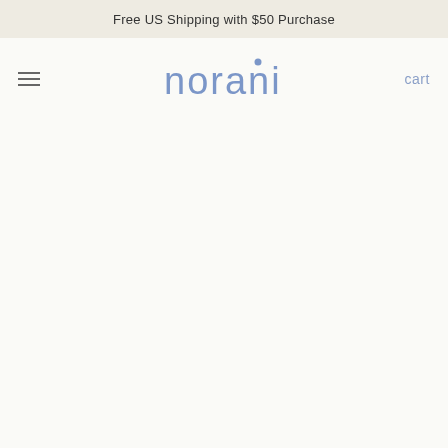Free US Shipping with $50 Purchase
[Figure (logo): Norani brand logo in blue/periwinkle color with stylized lowercase text]
cart